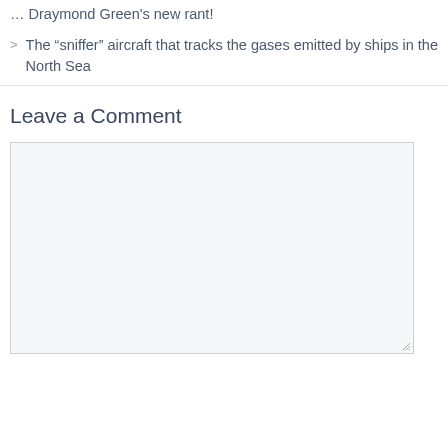… Draymond Green's new rant!
> The “sniffer” aircraft that tracks the gases emitted by ships in the North Sea
Leave a Comment